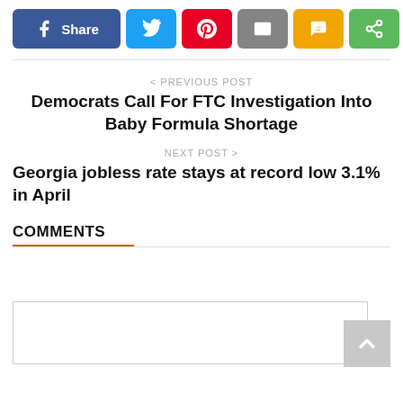[Figure (other): Social share bar with Facebook Share button, Twitter, Pinterest, Email, SMS, and general share buttons]
< PREVIOUS POST
Democrats Call For FTC Investigation Into Baby Formula Shortage
NEXT POST >
Georgia jobless rate stays at record low 3.1% in April
COMMENTS
[Figure (other): Comment text input box area]